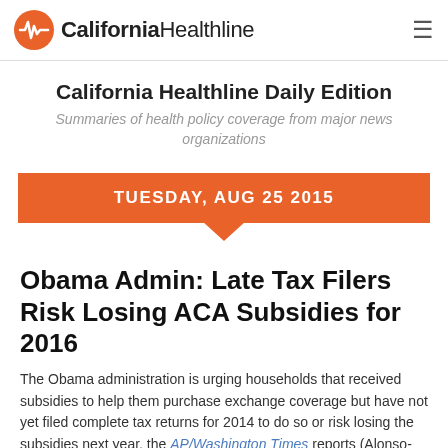California Healthline
California Healthline Daily Edition
Summaries of health policy coverage from major news organizations
TUESDAY, AUG 25 2015
Obama Admin: Late Tax Filers Risk Losing ACA Subsidies for 2016
The Obama administration is urging households that received subsidies to help them purchase exchange coverage but have not yet filed complete tax returns for 2014 to do so or risk losing the subsidies next year, the AP/Washington Times reports (Alonso-Zaldivar, AP/Washington Times, 8/24).